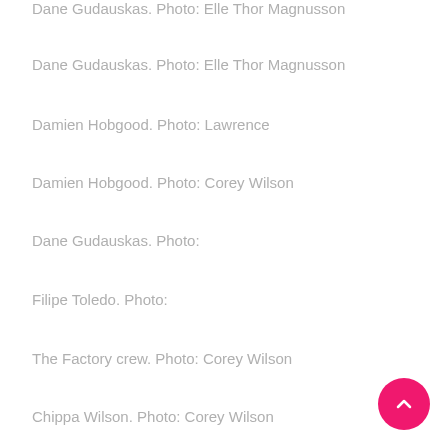Dane Gudauskas. Photo: Elle Thor Magnusson
Dane Gudauskas. Photo: Elle Thor Magnusson
Damien Hobgood. Photo: Lawrence
Damien Hobgood. Photo: Corey Wilson
Dane Gudauskas. Photo:
Filipe Toledo. Photo:
The Factory crew. Photo: Corey Wilson
Chippa Wilson. Photo: Corey Wilson